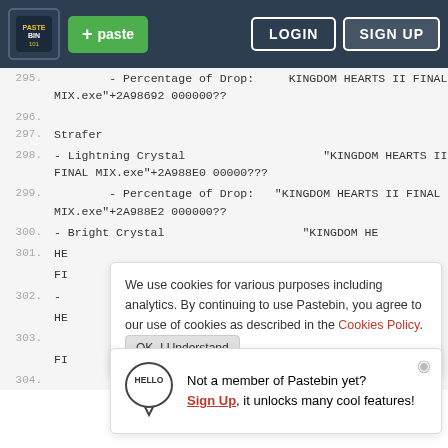Pastebin navigation bar with logo, paste button, LOGIN and SIGN UP buttons
295.         - Percentage of Drop:     KINGDOM HEARTS II FINAL MIX.exe"+2A98692 000000??
296.
297. Strafer
298. - Lightning Crystal                    "KINGDOM HEARTS II FINAL MIX.exe"+2A988E0 00000???
299.         - Percentage of Drop:    "KINGDOM HEARTS II FINAL MIX.exe"+2A988E2 000000??
300. - Bright Crystal                    "KINGDOM HE
301. HE
    FI
302. -
    HE
We use cookies for various purposes including analytics. By continuing to use Pastebin, you agree to our use of cookies as described in the Cookies Policy. OK, I Understand
[Figure (infographic): Hello speech bubble icon with HELLO text inside]
Not a member of Pastebin yet? Sign Up, it unlocks many cool features!
303.     FI
304.